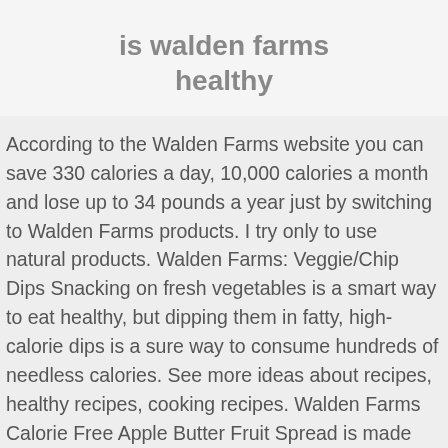is walden farms healthy
According to the Walden Farms website you can save 330 calories a day, 10,000 calories a month and lose up to 34 pounds a year just by switching to Walden Farms products. I try only to use natural products. Walden Farms: Veggie/Chip Dips Snacking on fresh vegetables is a smart way to eat healthy, but dipping them in fatty, high-calorie dips is a sure way to consume hundreds of needless calories. See more ideas about recipes, healthy recipes, cooking recipes. Walden Farms Calorie Free Apple Butter Fruit Spread is made from natural apple fruit extract for a sensational fresh apple cinnamon taste. I have been eating it for years. The chocolate syrup isn't awful either. Corn Syrup and high fructose can lead to many deadly diseases, including Alzheimer's. While Walden Farms is not connected with any particular diet program, our calorie-free specialties are enjoyed by millions as the ultimate...